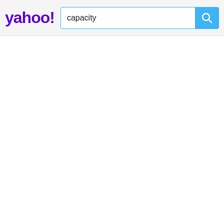[Figure (screenshot): Yahoo search bar header with Yahoo! logo in purple on the left and a search input box containing the text 'capacity' with a blue search button on the right]
capacity